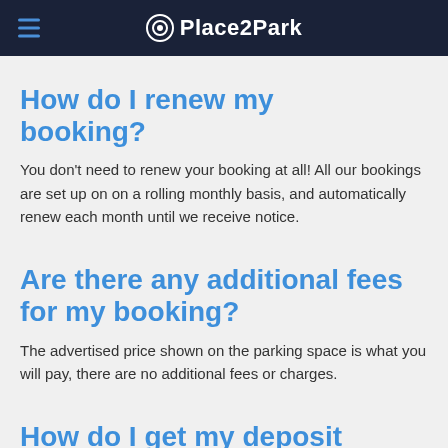Place2Park
How do I renew my booking?
You don't need to renew your booking at all! All our bookings are set up on on a rolling monthly basis, and automatically renew each month until we receive notice.
Are there any additional fees for my booking?
The advertised price shown on the parking space is what you will pay, there are no additional fees or charges.
How do I get my deposit back?